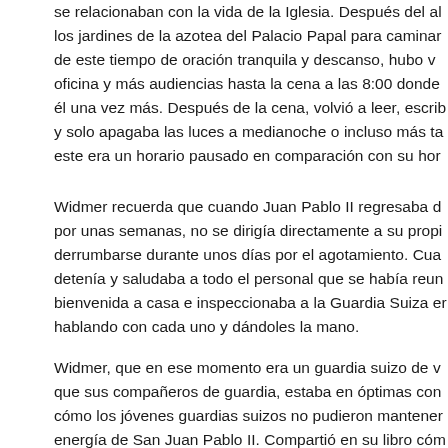se relacionaban con la vida de la Iglesia. Después del al los jardines de la azotea del Palacio Papal para caminar de este tiempo de oración tranquila y descanso, hubo v oficina y más audiencias hasta la cena a las 8:00 donde él una vez más. Después de la cena, volvió a leer, escrib y solo apagaba las luces a medianoche o incluso más ta este era un horario pausado en comparación con su hor
Widmer recuerda que cuando Juan Pablo II regresaba d por unas semanas, no se dirigía directamente a su propi derrumbarse durante unos días por el agotamiento. Cua detenía y saludaba a todo el personal que se había reun bienvenida a casa e inspeccionaba a la Guardia Suiza er hablando con cada uno y dándoles la mano.
Widmer, que en ese momento era un guardia suizo de v que sus compañeros de guardia, estaba en óptimas con cómo los jóvenes guardias suizos no pudieron mantener energía de San Juan Pablo II. Compartió en su libro cóm